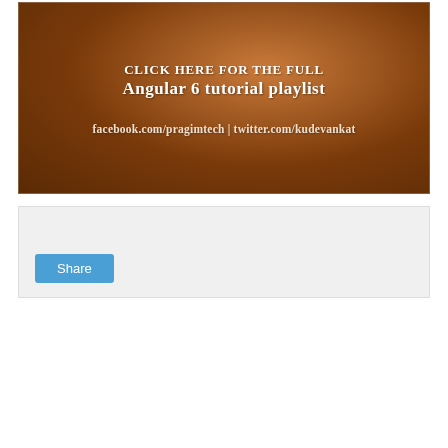[Figure (illustration): Brown gradient banner with white text reading 'click here for the full Angular 6 tutorial playlist' and social media links 'facebook.com/pragimtech | twitter.com/kudevankat']
Share